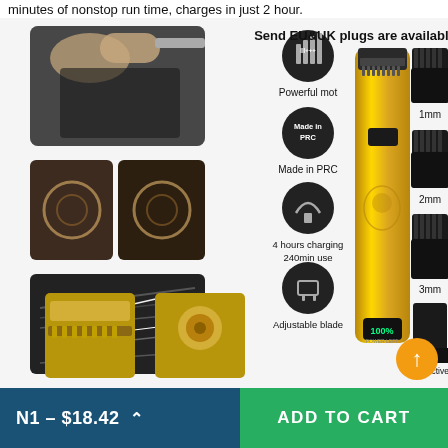minutes of nonstop run time, charges in just 2 hour.
[Figure (photo): Product listing image for a gold hair trimmer/clipper set. Shows: top-left area with photos of haircut styles (fade, artistic hair designs, detailed cuts), center icons showing 'Powerful motor', 'Made in PRC', '4 hours charging 240min use', 'Adjustable blade', text header 'Send EU&UK plugs are available', center image of gold trimmer device with LED display showing 100% power, right side showing 4 guide combs labeled 1mm, 2mm, 3mm, and Protective, bottom showing trimmer blade attachments.]
N1 – $18.42
ADD TO CART